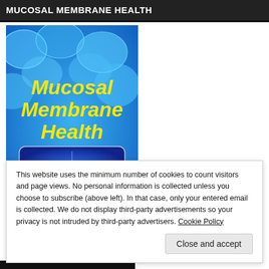MUCOSAL MEMBRANE HEALTH
[Figure (illustration): Book cover for 'Mucosal Membrane Health' showing yellow bold text on a blue cellular/tissue background with a water droplet ripple image in the center. Subtitle text: 'The Key to Preventing Inflammatory Conditions, Infections, Toxicity and...']
This website uses the minimum number of cookies to count visitors and page views. No personal information is collected unless you choose to subscribe (above left). In that case, only your entered email is collected. We do not display third-party advertisements so your privacy is not intruded by third-party advertisers. Cookie Policy
Close and accept